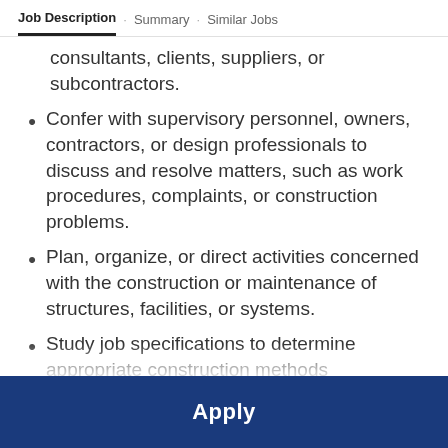Job Description · Summary · Similar Jobs
consultants, clients, suppliers, or subcontractors.
Confer with supervisory personnel, owners, contractors, or design professionals to discuss and resolve matters, such as work procedures, complaints, or construction problems.
Plan, organize, or direct activities concerned with the construction or maintenance of structures, facilities, or systems.
Study job specifications to determine appropriate construction methods